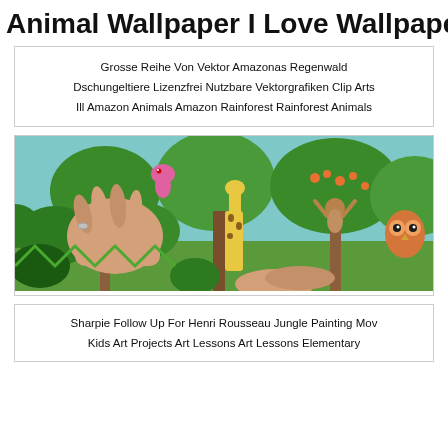Animal Wallpaper I Love Wallpaper
Grosse Reihe Von Vektor Amazonas Regenwald Dschungeltiere Lizenzfrei Nutzbare Vektorgrafiken Clip Arts Ill Amazon Animals Amazon Rainforest Rainforest Animals
[Figure (photo): Hands painting a colorful jungle scene with animals including a giraffe, monkeys, an owl, and a pink bird among green trees and foliage.]
Sharpie Follow Up For Henri Rousseau Jungle Painting Mov Kids Art Projects Art Lessons Art Lessons Elementary